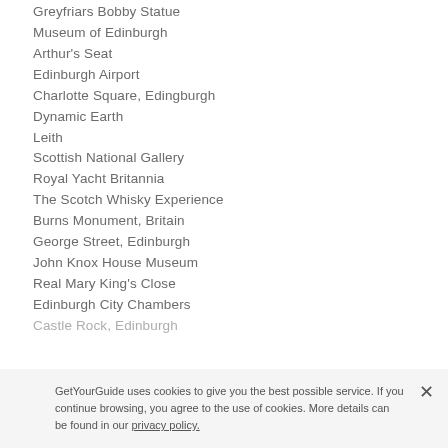Greyfriars Bobby Statue
Museum of Edinburgh
Arthur's Seat
Edinburgh Airport
Charlotte Square, Edingburgh
Dynamic Earth
Leith
Scottish National Gallery
Royal Yacht Britannia
The Scotch Whisky Experience
Burns Monument, Britain
George Street, Edinburgh
John Knox House Museum
Real Mary King's Close
Edinburgh City Chambers
Castle Rock, Edinburgh
GetYourGuide uses cookies to give you the best possible service. If you continue browsing, you agree to the use of cookies. More details can be found in our privacy policy.